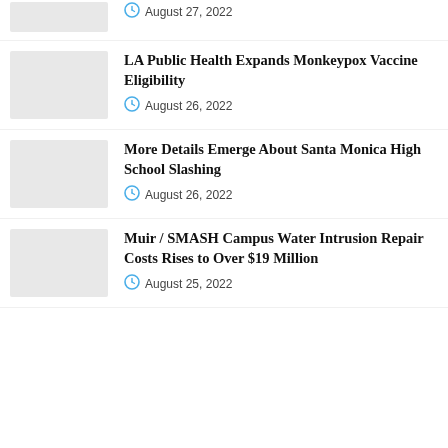[Figure (photo): Partial thumbnail image (cropped at top)]
August 27, 2022
[Figure (photo): Thumbnail image placeholder]
LA Public Health Expands Monkeypox Vaccine Eligibility
August 26, 2022
[Figure (photo): Thumbnail image placeholder]
More Details Emerge About Santa Monica High School Slashing
August 26, 2022
[Figure (photo): Thumbnail image placeholder]
Muir / SMASH Campus Water Intrusion Repair Costs Rises to Over $19 Million
August 25, 2022